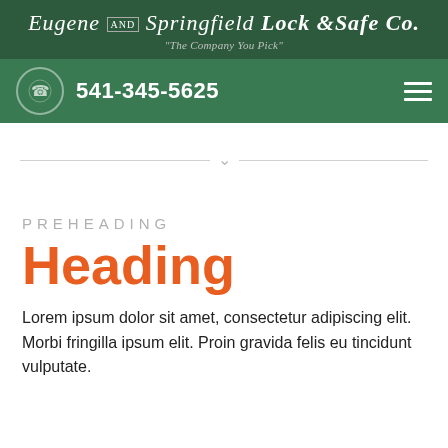Eugene AND Springfield Lock & Safe Co. "The Company You Pick"
541-345-5625
[Figure (other): Horizontal divider line with downward chevron/arrow in the center]
PREHEADING
Heading
Lorem ipsum dolor sit amet, consectetur adipiscing elit. Morbi fringilla ipsum elit. Proin gravida felis eu tincidunt vulputate.